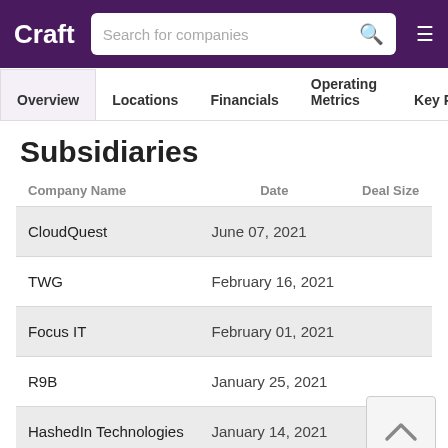Craft | Search for companies
Overview | Locations | Financials | Operating Metrics | Key P
Subsidiaries
| Company Name | Date | Deal Size |
| --- | --- | --- |
| CloudQuest | June 07, 2021 |  |
| TWG | February 16, 2021 |  |
| Focus IT | February 01, 2021 |  |
| R9B | January 25, 2021 |  |
| HashedIn Technologies | January 14, 2021 |  |